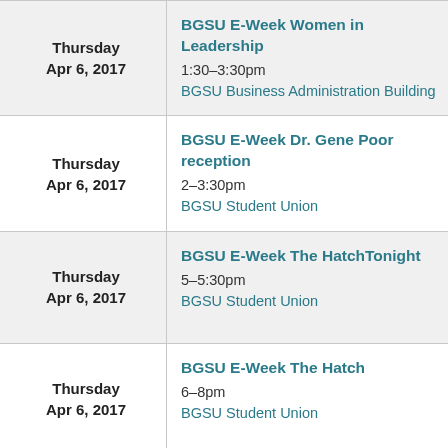| Date | Event |
| --- | --- |
| Thursday
Apr 6, 2017 | BGSU E-Week Women in Leadership
1:30–3:30pm
BGSU Business Administration Building |
| Thursday
Apr 6, 2017 | BGSU E-Week Dr. Gene Poor reception
2–3:30pm
BGSU Student Union |
| Thursday
Apr 6, 2017 | BGSU E-Week The HatchTonight
5–5:30pm
BGSU Student Union |
| Thursday
Apr 6, 2017 | BGSU E-Week The Hatch
6–8pm
BGSU Student Union |